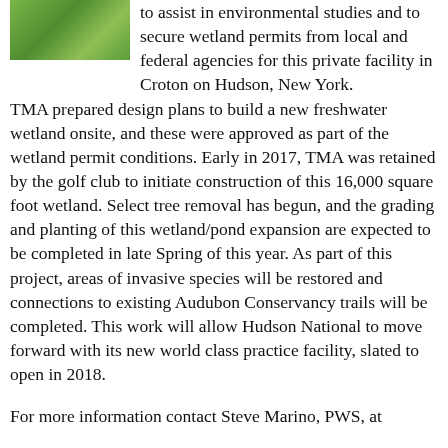[Figure (photo): Outdoor nature/wetland photo with green vegetation]
to assist in environmental studies and to secure wetland permits from local and federal agencies for this private facility in Croton on Hudson, New York.
TMA prepared design plans to build a new freshwater wetland onsite, and these were approved as part of the wetland permit conditions. Early in 2017, TMA was retained by the golf club to initiate construction of this 16,000 square foot wetland. Select tree removal has begun, and the grading and planting of this wetland/pond expansion are expected to be completed in late Spring of this year. As part of this project, areas of invasive species will be restored and connections to existing Audubon Conservancy trails will be completed. This work will allow Hudson National to move forward with its new world class practice facility, slated to open in 2018.
For more information contact Steve Marino, PWS, at